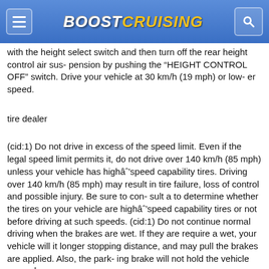BoostCruising
with the height select switch and then turn off the rear height control air sus- pension by pushing the “HEIGHT CONTROL OFF” switch. Drive your vehicle at 30 km/h (19 mph) or low- er speed.
tire dealer
(cid:1) Do not drive in excess of the speed limit. Even if the legal speed limit permits it, do not drive over 140 km/h (85 mph) unless your vehicle has highâˆ’speed capability tires. Driving over 140 km/h (85 mph) may result in tire failure, loss of control and possible injury. Be sure to con- sult a to determine whether the tires on your vehicle are highâˆ’speed capability tires or not before driving at such speeds. (cid:1) Do not continue normal driving when the brakes are wet. If they are require a wet, your vehicle will it longer stopping distance, and may pull the brakes are applied. Also, the park- ing brake will not hold the vehicle securely.
to one side when